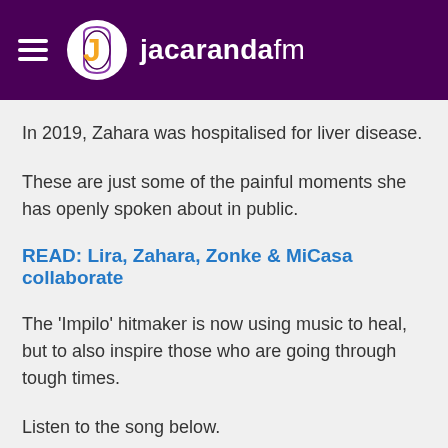jacarandafm
In 2019, Zahara was hospitalised for liver disease.
These are just some of the painful moments she has openly spoken about in public.
READ: Lira, Zahara, Zonke & MiCasa collaborate
The 'Impilo' hitmaker is now using music to heal, but to also inspire those who are going through tough times.
Listen to the song below.